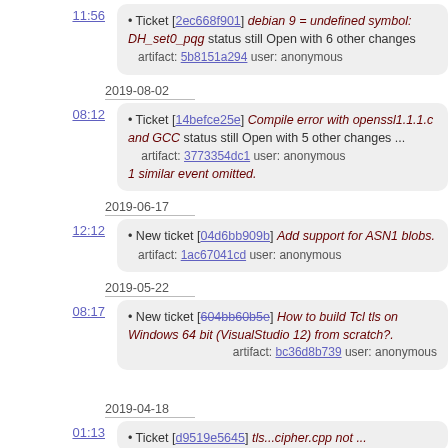11:56
Ticket [2ec668f901] debian 9 = undefined symbol: DH_set0_pqg status still Open with 6 other changes artifact: 5b8151a294 user: anonymous
2019-08-02
08:12
Ticket [14befce25e] Compile error with openssl1.1.1.c and GCC status still Open with 5 other changes ... artifact: 3773354dc1 user: anonymous 1 similar event omitted.
2019-06-17
12:12
New ticket [04d6bb909b] Add support for ASN1 blobs. artifact: 1ac67041cd user: anonymous
2019-05-22
08:17
New ticket [604bb60b5e] How to build Tcl tls on Windows 64 bit (VisualStudio 12) from scratch?. artifact: bc36d8b739 user: anonymous
2019-04-18
01:13
Ticket [d9519e5645] tls...cipher.cpp not ...